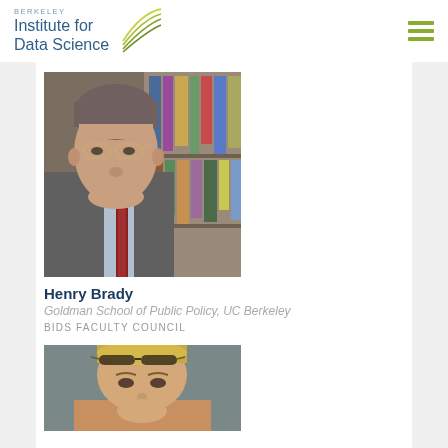BERKELEY Institute for Data Science
[Figure (photo): Portrait photo of Henry Brady, older man with glasses, gray hair, wearing a suit and tie, standing in front of bookshelves.]
Henry Brady
Goldman School of Public Policy, UC Berkeley
BIDS FACULTY COUNCIL
[Figure (photo): Portrait photo of a woman with blonde hair and sunglasses on her head, cropped at the bottom of the page.]